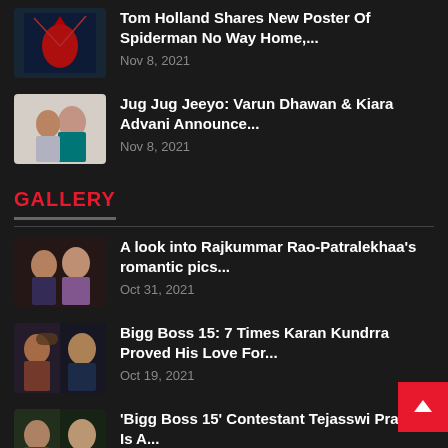[Figure (photo): Spider-Man No Way Home poster thumbnail]
Tom Holland Shares New Poster Of Spiderman No Way Home,...
Nov 8, 2021
[Figure (photo): Varun Dhawan and Kiara Advani photo thumbnail]
Jug Jug Jeeyo: Varun Dhawan & Kiara Advani Announce...
Nov 8, 2021
GALLERY
[Figure (photo): Rajkummar Rao and Patralekhaa photo thumbnail]
A look into Rajkummar Rao-Patralekhaa's romantic pics...
Oct 31, 2021
[Figure (photo): Karan Kundrra photo thumbnail]
Bigg Boss 15: 7 Times Karan Kundrra Proved His Love For...
Oct 19, 2021
[Figure (photo): Tejasswi Prakash photo thumbnail]
'Bigg Boss 15' Contestant Tejasswi Prakash Is A...